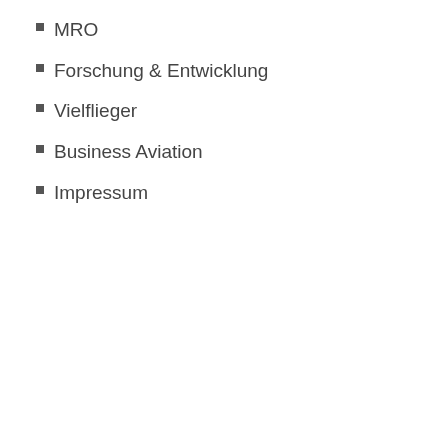MRO
Forschung & Entwicklung
Vielflieger
Business Aviation
Impressum